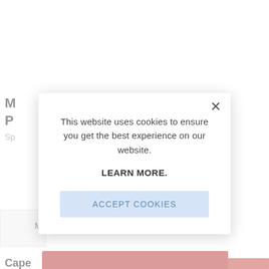[Figure (screenshot): Background webpage partially visible showing bold text starting with 'M' and 'P', subtitle starting with 'Sp', a light grey box with 'M' text, bold 'Cape' text, and a partial close button on the right side.]
This website uses cookies to ensure you get the best experience on our website.
LEARN MORE.
ACCEPT COOKIES